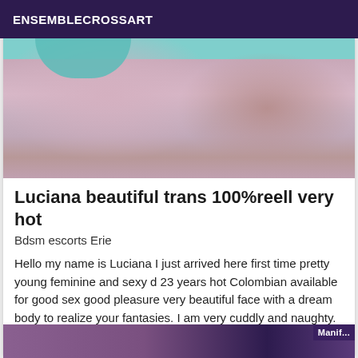ENSEMBLECROSSART
[Figure (photo): Close-up photo of a person lying on a purple/mauve bed sheet, wearing a teal/turquoise undergarment, with a watch visible on their wrist.]
Luciana beautiful trans 100%reell very hot
Bdsm escorts Erie
Hello my name is Luciana I just arrived here first time pretty young feminine and sexy d 23 years hot Colombian available for good sex good pleasure very beautiful face with a dream body to realize your fantasies. I am very cuddly and naughty. My photosbientôt kiss.
[Figure (photo): Partially visible photo at the bottom of the page with a dark purple overlay label on the right side.]